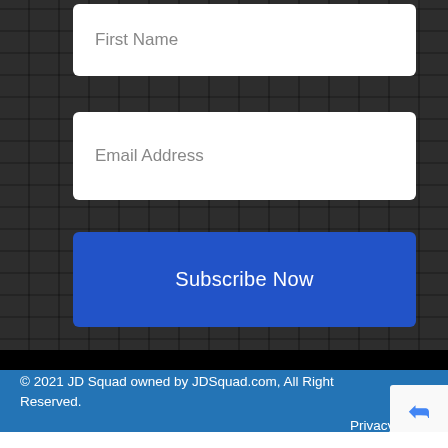[Figure (screenshot): Web form with First Name input field at top]
First Name
Email Address
Subscribe Now
© 2021 JD Squad owned by JDSquad.com, All Right Reserved.
Privacy Policy